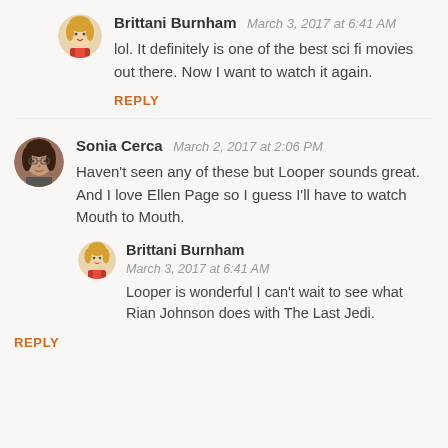[Figure (illustration): Circular avatar of Brittani Burnham — illustrated cartoon woman with blonde hair and decorative clothing]
Brittani Burnham
March 3, 2017 at 6:41 AM
lol. It definitely is one of the best sci fi movies out there. Now I want to watch it again.
REPLY
[Figure (photo): Circular avatar of Sonia Cerca — photo of a woman with dark hair and glasses]
Sonia Cerca
March 2, 2017 at 2:06 PM
Haven't seen any of these but Looper sounds great. And I love Ellen Page so I guess I'll have to watch Mouth to Mouth.
[Figure (illustration): Circular avatar of Brittani Burnham — illustrated cartoon woman with blonde hair]
Brittani Burnham
March 3, 2017 at 6:41 AM
Looper is wonderful I can't wait to see what Rian Johnson does with The Last Jedi.
REPLY